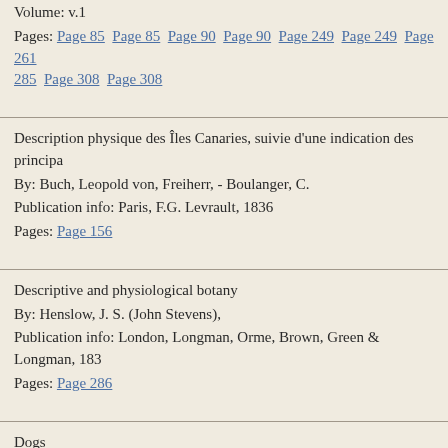Volume: v.1
Pages: Page 85  Page 85  Page 90  Page 90  Page 249  Page 249  Page 261  285  Page 308  Page 308
Description physique des Îles Canaries, suivie d'une indication des principa...
By: Buch, Leopold von, Freiherr, - Boulanger, C.
Publication info: Paris, F.G. Levrault, 1836
Pages: Page 156
Descriptive and physiological botany
By: Henslow, J. S. (John Stevens),
Publication info: London, Longman, Orme, Brown, Green & Longman, 183...
Pages: Page 286
Dogs
By: Smith, Charles Hamilton, - Jardine, William,
Publication info: Edinburgh, W.H. Lizars, 1839-1840
Volume: v.1